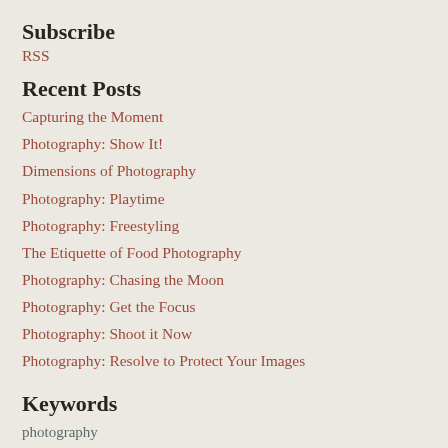Subscribe
RSS
Recent Posts
Capturing the Moment
Photography: Show It!
Dimensions of Photography
Photography: Playtime
Photography: Freestyling
The Etiquette of Food Photography
Photography: Chasing the Moon
Photography: Get the Focus
Photography: Shoot it Now
Photography: Resolve to Protect Your Images
Keywords
photography
learn photography
learning photography
creative vision